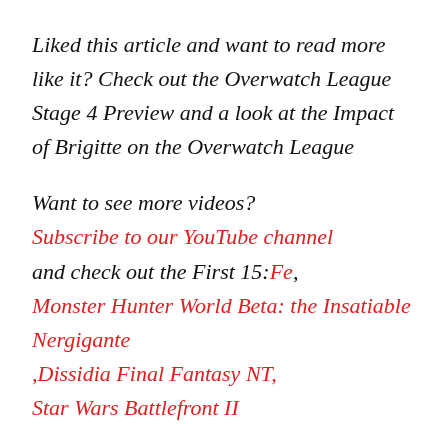Liked this article and want to read more like it? Check out the Overwatch League Stage 4 Preview and a look at the Impact of Brigitte on the Overwatch League
Want to see more videos? Subscribe to our YouTube channel and check out the First 15:Fe, Monster Hunter World Beta: the Insatiable Nergigante ,Dissidia Final Fantasy NT, Star Wars Battlefront II